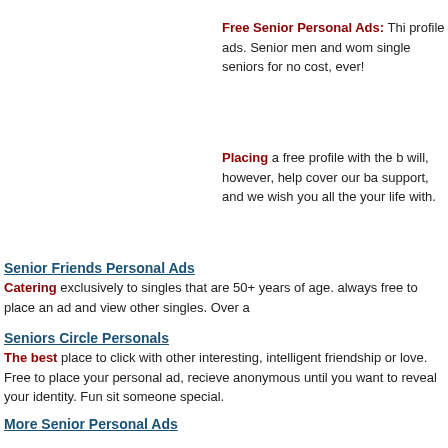Free Senior Personal Ads: This profile ads. Senior men and women single seniors for no cost, ever!
Placing a free profile with the b will, however, help cover our ba support, and we wish you all the your life with.
Senior Friends Personal Ads
Catering exclusively to singles that are 50+ years of age. always free to place an ad and view other singles. Over a
Seniors Circle Personals
The best place to click with other interesting, intelligent friendship or love. Free to place your personal ad, recieve anonymous until you want to reveal your identity. Fun sit someone special.
More Senior Personal Ads